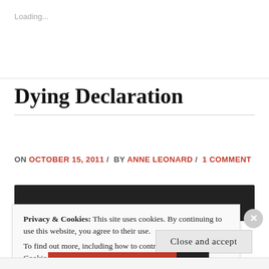Loading...
Dying Declaration
ON OCTOBER 15, 2011 / BY ANNE LEONARD / 1 COMMENT
[Figure (other): Dark header image bar for a blog post]
Privacy & Cookies: This site uses cookies. By continuing to use this website, you agree to their use.
To find out more, including how to control cookies, see here: Cookie Policy
Close and accept